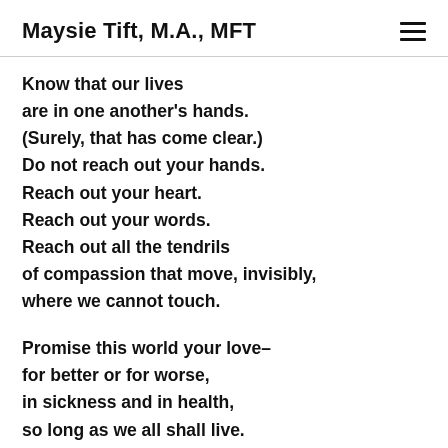Maysie Tift, M.A., MFT
Know that our lives
are in one another's hands.
(Surely, that has come clear.)
Do not reach out your hands.
Reach out your heart.
Reach out your words.
Reach out all the tendrils
of compassion that move, invisibly,
where we cannot touch.

Promise this world your love–
for better or for worse,
in sickness and in health,
so long as we all shall live.